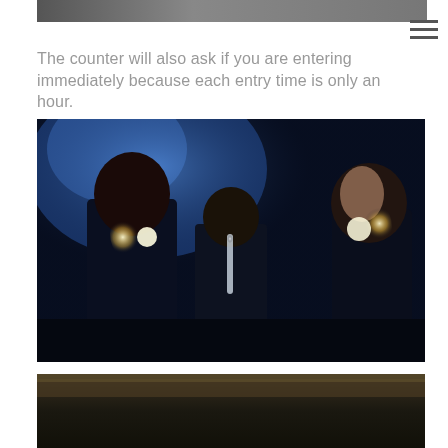[Figure (photo): Partial top edge of a photo, cropped – appears to be a scene from a Harry Potter or similar fantasy attraction, dark tones with figures.]
The counter will also ask if you are entering immediately because each entry time is only an hour.
[Figure (photo): Three figures in dark robes holding wands with glowing light, dramatic blue and dark lighting – appears to be a Harry Potter themed attraction display or promotional image.]
[Figure (photo): Bottom partial photo cropped – dark scene, appears to be another attraction or exhibit photo.]